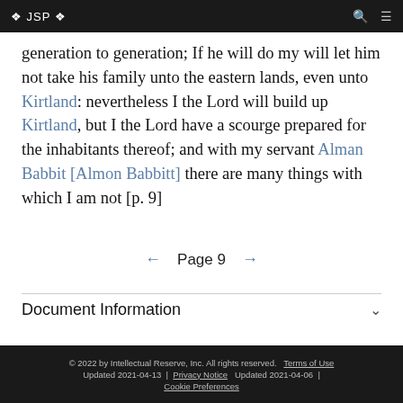❖ JSP ❖
generation to generation; If he will do my will let him not take his family unto the eastern lands, even unto Kirtland: nevertheless I the Lord will build up Kirtland, but I the Lord have a scourge prepared for the inhabitants thereof; and with my servant Alman Babbit [Almon Babbitt] there are many things with which I am not [p. 9]
← Page 9 →
Document Information
© 2022 by Intellectual Reserve, Inc. All rights reserved.   Terms of Use   Updated 2021-04-13 |   Privacy Notice   Updated 2021-04-06 |   Cookie Preferences